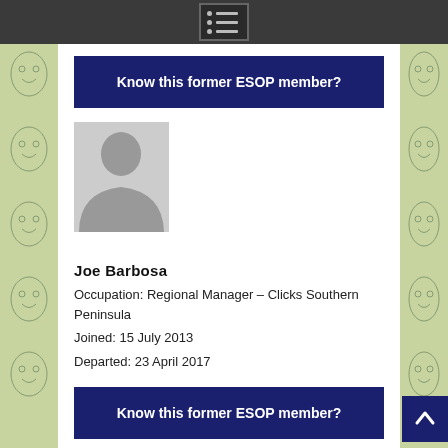[Figure (logo): Navigation menu icon with three rows of dot and line]
Know this former ESOP member?
[Figure (photo): Generic grey silhouette placeholder profile image]
Joe Barbosa
Occupation: Regional Manager – Clicks Southern Peninsula
Joined: 15 July 2013
Departed: 23 April 2017
Know this former ESOP member?